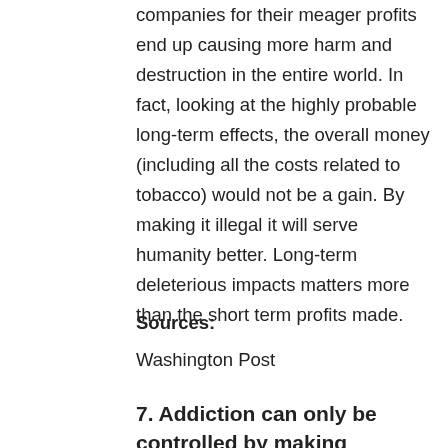companies for their meager profits end up causing more harm and destruction in the entire world. In fact, looking at the highly probable long-term effects, the overall money (including all the costs related to tobacco) would not be a gain. By making it illegal it will serve humanity better. Long-term deleterious impacts matters more than the short term profits made.
Sources:
Washington Post
7. Addiction can only be controlled by making tobacco products illegal.
Warrant:
Even though many health studies on tobacco's health